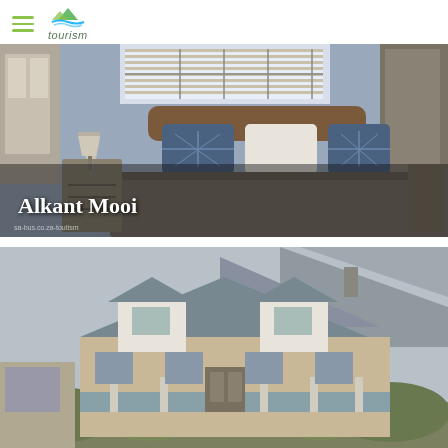tourism
[Figure (photo): Interior bedroom photo showing a double bed with brown bedspread, blue patterned pillows, wooden headboard, two bedside lamps, and a window with blinds. Text overlay reads 'Alkant Mooi'.]
[Figure (photo): Exterior photo of a Cape Dutch style house with grey/teal roof, white gabled dormers, a covered veranda with columns, and mountains in the background.]